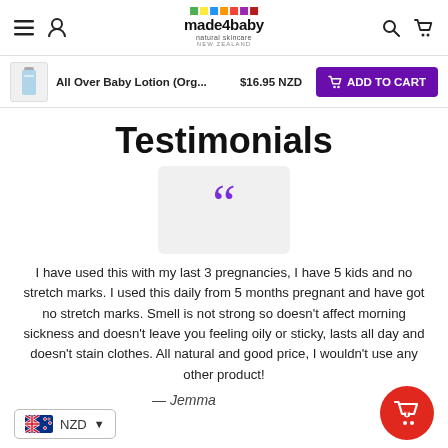made4baby natural skincare NZ — navigation bar with menu, account, search, and cart icons
All Over Baby Lotion (Org...  $16.95 NZD  ADD TO CART
Testimonials
[Figure (illustration): Large purple quotation mark on a light grey rounded rectangle background]
I have used this with my last 3 pregnancies, I have 5 kids and no stretch marks. I used this daily from 5 months pregnant and have got no stretch marks. Smell is not strong so doesn't affect morning sickness and doesn't leave you feeling oily or sticky, lasts all day and doesn't stain clothes. All natural and good price, I wouldn't use any other product!
— Jemma
NZD ▾